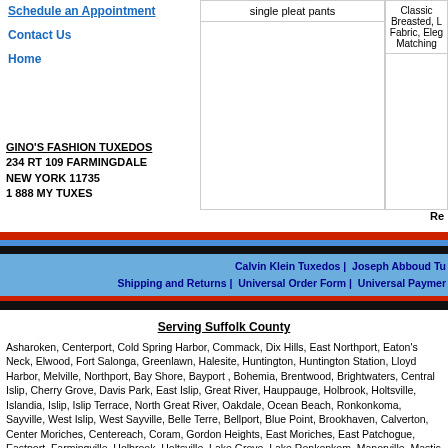Schedule an Appointment
Contact Us
Home
single pleat pants
Classic Breasted, L Fabric, Eleg Matching
GINO'S FASHION TUXEDOS
234 RT 109 FARMINGDALE
NEW YORK 11735
1 888 MY TUXES
Re
Calvin Klein Tuxedos | Joseph Abboud Tu
Shipping and Returns | Universal Order Form | Universal Paymer
Serving Suffolk County
Asharoken, Centerport, Cold Spring Harbor, Commack, Dix Hills, East Northport, Eaton's Neck, Elwood, Fort Salonga, Greenlawn, Halesite, Huntington, Huntington Station, Lloyd Harbor, Melville, Northport, Bay Shore, Bayport , Bohemia, Brentwood, Brightwaters, Central Islip, Cherry Grove, Davis Park, East Islip, Great River, Hauppauge, Holbrook, Holtsville, Islandia, Islip, Islip Terrace, North Great River, Oakdale, Ocean Beach, Ronkonkoma, Sayville, West Islip, West Sayville, Belle Terre, Bellport, Blue Point, Brookhaven, Calverton, Center Moriches, Centereach, Coram, Gordon Heights, East Moriches, East Patchogue, Eastport, Farmingville, Holbrook, Holtsville, Lake Grove, Lake Ronkonkom, Manorville, Mastic Beach, Medford, Miller Place, Middle Island, Moriches, Mount Sinai, Old Field, Patchogue, Poquott, Port Jefferson, Port Jefferson Station, Ridge, Rocky Point, Selden, Setauket, Shirley, Shoreham, Sound Beach, Stony Brook, Upton, Yaphank, Commack, Fort Salonga, Hauppauge, Kings Park, Lake Ronkonkoma, Nesconset, And More.......